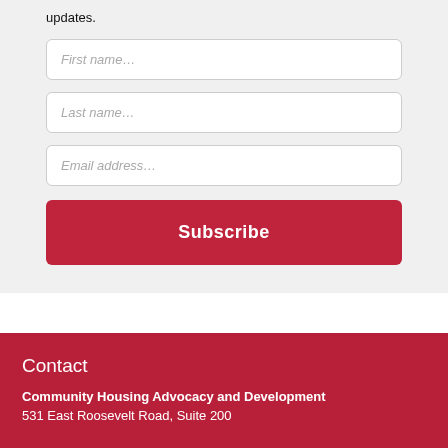updates.
First name…
Last name…
Email address…
Subscribe
Contact
Community Housing Advocacy and Development
531 East Roosevelt Road, Suite 200